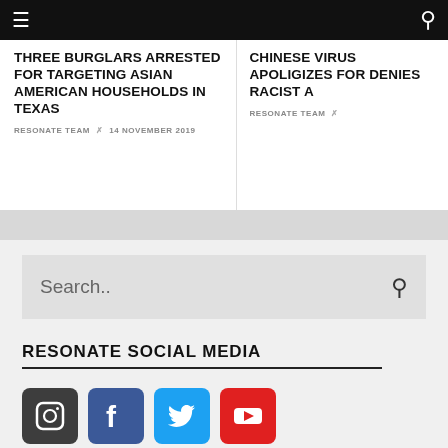Navigation bar with hamburger menu and search icon
THREE BURGLARS ARRESTED FOR TARGETING ASIAN AMERICAN HOUSEHOLDS IN TEXAS
RESONATE TEAM × 14 NOVEMBER 2019
CHINESE VIRUS APOLIGIZES FOR DENIES RACIST A
RESONATE TEAM ×
RESONATE SOCIAL MEDIA
[Figure (screenshot): Search input box with search icon]
[Figure (logo): Social media icons: Instagram, Facebook, Twitter, YouTube]